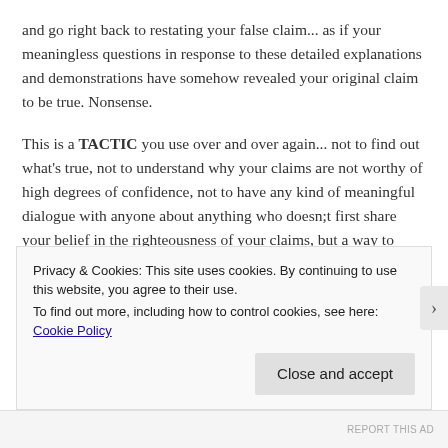and go right back to restating your false claim... as if your meaningless questions in response to these detailed explanations and demonstrations have somehow revealed your original claim to be true. Nonsense.
This is a TACTIC you use over and over again... not to find out what's true, not to understand why your claims are not worthy of high degrees of confidence, not to have any kind of meaningful dialogue with anyone about anything who doesn;t first share your belief in the righteousness of your claims, but a way to continue to espouse claims that are inaccurate but pious... as if this is all that really matters.
Privacy & Cookies: This site uses cookies. By continuing to use this website, you agree to their use.
To find out more, including how to control cookies, see here: Cookie Policy
Close and accept